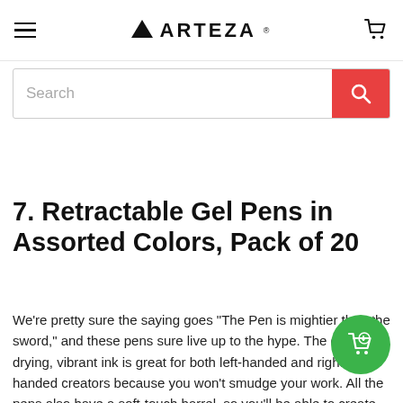ARTEZA
[Figure (screenshot): Search bar with red search button]
7. Retractable Gel Pens in Assorted Colors, Pack of 20
We're pretty sure the saying goes "The Pen is mightier than the sword," and these pens sure live up to the hype. The quick-drying, vibrant ink is great for both left-handed and right-handed creators because you won't smudge your work. All the pens also have a soft-touch barrel, so you'll be able to create for long